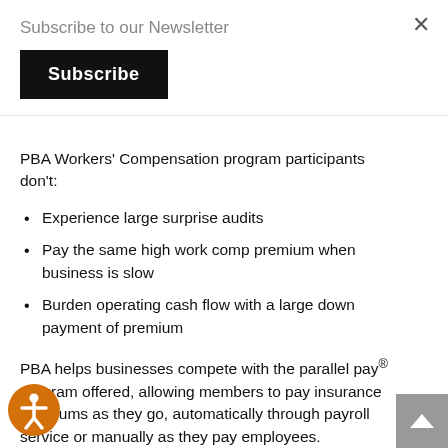Subscribe to our Newsletter
Subscribe
PBA Workers' Compensation program participants don't:
Experience large surprise audits
Pay the same high work comp premium when business is slow
Burden operating cash flow with a large down payment of premium
PBA helps businesses compete with the parallel pay® program offered, allowing members to pay insurance premiums as they go, automatically through payroll service or manually as they pay employees.